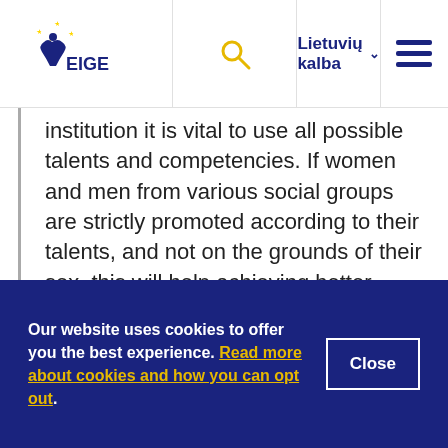EIGE — Lietuvių kalba
institution it is vital to use all possible talents and competencies. If women and men from various social groups are strictly promoted according to their talents, and not on the grounds of their sex, this will help achieving better results. However, gender stereotypes can lead to a flawed assessment of performance.
Our website uses cookies to offer you the best experience. Read more about cookies and how you can opt out.